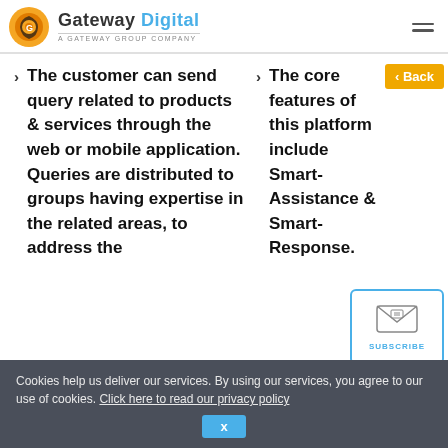[Figure (logo): Gateway Digital logo with swirl icon and tagline 'A GATEWAY GROUP COMPANY']
The customer can send query related to products & services through the web or mobile application. Queries are distributed to groups having expertise in the related areas, to address the
The core features of this platform include Smart-Assistance & Smart-Response.
[Figure (illustration): Subscribe button with envelope icon inside a blue-bordered rounded rectangle]
Cookies help us deliver our services. By using our services, you agree to our use of cookies. Click here to read our privacy policy
x